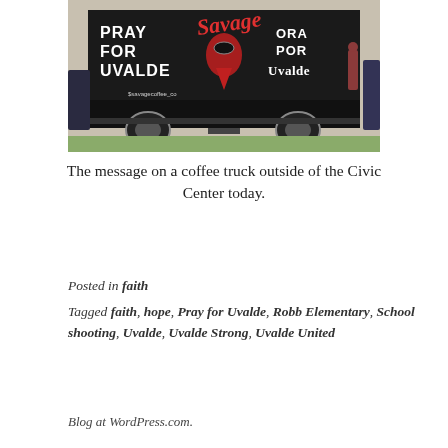[Figure (photo): A black coffee truck/trailer with text reading 'PRAY FOR UVALDE' on the left side and 'ORA POR UVALDE' on the right side, with the Savage Coffee logo in the center. Parked outdoors near a civic center.]
The message on a coffee truck outside of the Civic Center today.
Posted in faith
Tagged faith, hope, Pray for Uvalde, Robb Elementary, School shooting, Uvalde, Uvalde Strong, Uvalde United
Blog at WordPress.com.